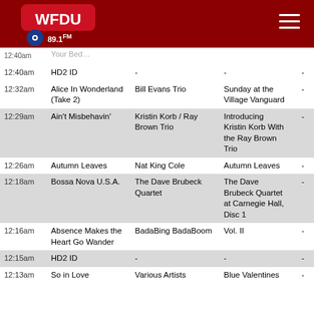WFDU 89.1FM
| Time | Song | Artist | Album |  |
| --- | --- | --- | --- | --- |
| 12:40am | HD2 ID | - | - | - |
| 12:32am | Alice In Wonderland (Take 2) | Bill Evans Trio | Sunday at the Village Vanguard | - |
| 12:29am | Ain't Misbehavin' | Kristin Korb / Ray Brown Trio | Introducing Kristin Korb With the Ray Brown Trio | - |
| 12:26am | Autumn Leaves | Nat King Cole | Autumn Leaves | - |
| 12:18am | Bossa Nova U.S.A. | The Dave Brubeck Quartet | The Dave Brubeck Quartet at Carnegie Hall, Disc 1 | - |
| 12:16am | Absence Makes the Heart Go Wander | BadaBing BadaBoom | Vol. II | - |
| 12:15am | HD2 ID | - | - | - |
| 12:13am | So in Love | Various Artists | Blue Valentines | - |